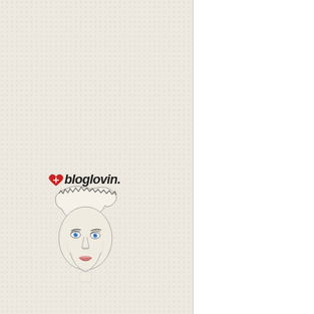[Figure (illustration): Bloglovin logo illustration: a stylized fashion sketch of a woman's face with blue eyes, dark hair with torn/ripped paper effect at top, red heart with cross symbol and 'bloglovin.' text written in black cursive above the head.]
Having said that...people, beer bottle, check out you major medical decisions.
[Figure (photo): Partial photo of a person, cropped and cut off at the right edge, with black bars at top and bottom.]
Posted by Unknown at Tues
Labels: Life's Misadventure...